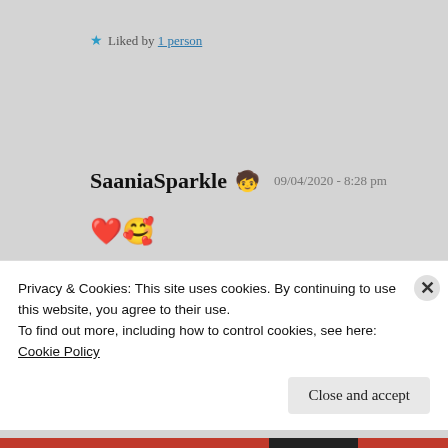★ Liked by 1 person
SaaniaSparkle 🧒 09/04/2020 - 8:28 pm
❤️🥰
★ Liked by 1 person
Privacy & Cookies: This site uses cookies. By continuing to use this website, you agree to their use.
To find out more, including how to control cookies, see here: Cookie Policy
Close and accept